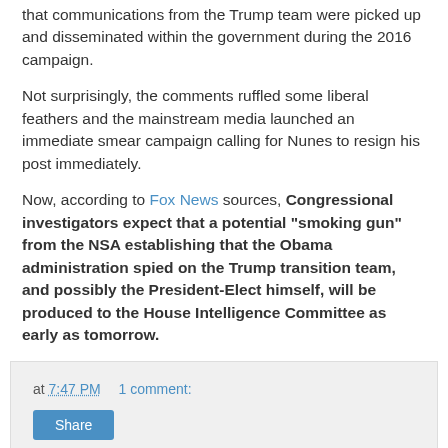that communications from the Trump team were picked up and disseminated within the government during the 2016 campaign.
Not surprisingly, the comments ruffled some liberal feathers and the mainstream media launched an immediate smear campaign calling for Nunes to resign his post immediately.
Now, according to Fox News sources, Congressional investigators expect that a potential “smoking gun” from the NSA establishing that the Obama administration spied on the Trump transition team, and possibly the President-Elect himself, will be produced to the House Intelligence Committee as early as tomorrow.
at 7:47 PM    1 comment:
Share
Investigate Adam Schiff and John